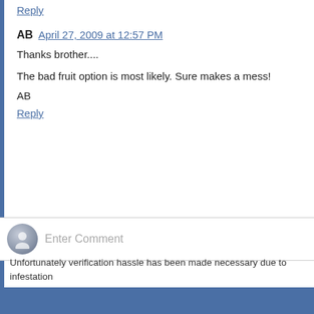Reply
AB  April 27, 2009 at 12:57 PM
Thanks brother....
The bad fruit option is most likely. Sure makes a mess!
AB
Reply
Enter Comment
Unfortunately verification hassle has been made necessary due to infestation AVRev. 18:4
‹
Home
View web version